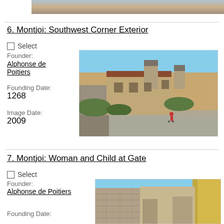[Figure (photo): Partial view of a historic village exterior photo at top of page]
6. Montjoi: Southwest Corner Exterior
Select
Founder: Alphonse de Poitiers
Founding Date: 1268
Image Date: 2009
[Figure (photo): Outdoor photograph of Montjoi village southwest corner exterior showing stone buildings with turrets, a street, and a person with a stroller, blue sky]
7. Montjoi: Woman and Child at Gate
Select
Founder: Alphonse de Poitiers
Founding Date:
[Figure (photo): Partial photograph of a stone gate or wall at Montjoi with a yellow door visible]